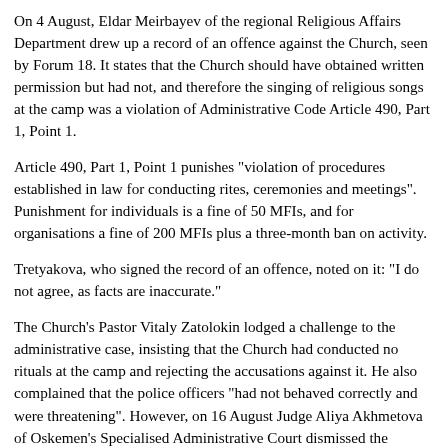On 4 August, Eldar Meirbayev of the regional Religious Affairs Department drew up a record of an offence against the Church, seen by Forum 18. It states that the Church should have obtained written permission but had not, and therefore the singing of religious songs at the camp was a violation of Administrative Code Article 490, Part 1, Point 1.
Article 490, Part 1, Point 1 punishes "violation of procedures established in law for conducting rites, ceremonies and meetings". Punishment for individuals is a fine of 50 MFIs, and for organisations a fine of 200 MFIs plus a three-month ban on activity.
Tretyakova, who signed the record of an offence, noted on it: "I do not agree, as facts are inaccurate."
The Church's Pastor Vitaly Zatolokin lodged a challenge to the administrative case, insisting that the Church had conducted no rituals at the camp and rejecting the accusations against it. He also complained that the police officers "had not behaved correctly and were threatening". However, on 16 August Judge Aliya Akhmetova of Oskemen's Specialised Administrative Court dismissed the challenge, according to the decision seen by Forum 18.
The same Judge Akhmetova at the same Court heard the